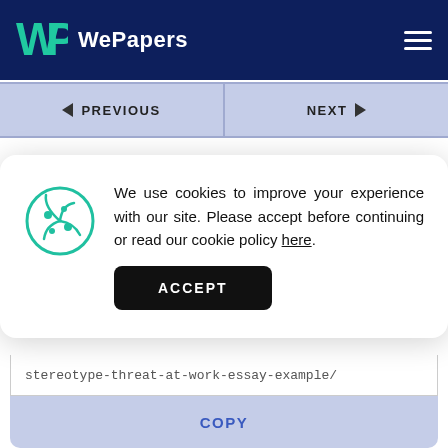WePapers
← PREVIOUS   NEXT →
Cite this page
We use cookies to improve your experience with our site. Please accept before continuing or read our cookie policy here.
ACCEPT
stereotype-threat-at-work-essay-example/
COPY